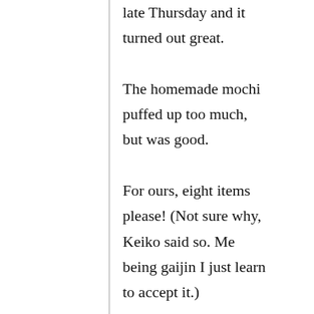late Thursday and it turned out great. The homemade mochi puffed up too much, but was good. For ours, eight items please! (Not sure why, Keiko said so. Me being gaijin I just learn to accept it.) Mochi, fish cake (the pink type you used is about $5-$6 cheaper